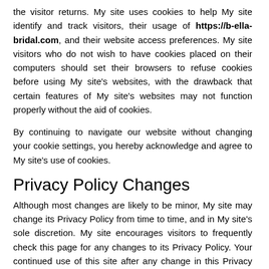the visitor returns. My site uses cookies to help My site identify and track visitors, their usage of https://b-ella-bridal.com, and their website access preferences. My site visitors who do not wish to have cookies placed on their computers should set their browsers to refuse cookies before using My site’s websites, with the drawback that certain features of My site's websites may not function properly without the aid of cookies.
By continuing to navigate our website without changing your cookie settings, you hereby acknowledge and agree to My site’s use of cookies.
Privacy Policy Changes
Although most changes are likely to be minor, My site may change its Privacy Policy from time to time, and in My site’s sole discretion. My site encourages visitors to frequently check this page for any changes to its Privacy Policy. Your continued use of this site after any change in this Privacy Policy will constitute your acceptance of such change.
Recent Posts
Haircuts for 2013/2014